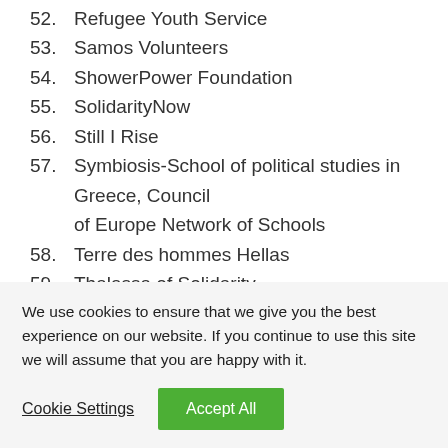52. Refugee Youth Service
53. Samos Volunteers
54. ShowerPower Foundation
55. SolidarityNow
56. Still I Rise
57. Symbiosis-School of political studies in Greece, Council of Europe Network of Schools
58. Terre des hommes Hellas
59. Thalassa of Solidarity
60. The Lava Project
61. Velos Youth
62. Verein FAIR.
63. Wave – Thessaloniki
We use cookies to ensure that we give you the best experience on our website. If you continue to use this site we will assume that you are happy with it.
Cookie Settings  Accept All